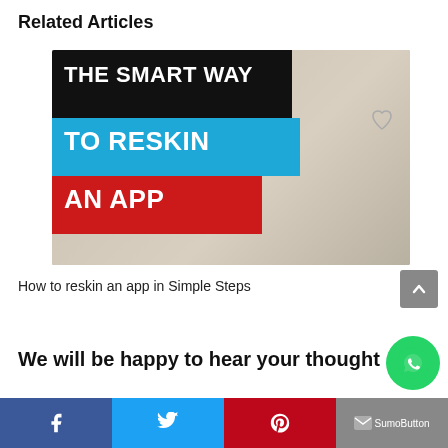Related Articles
[Figure (screenshot): Thumbnail image for a YouTube video titled 'The Smart Way To Reskin An App' showing a man giving thumbs up with bold colored text overlays]
How to reskin an app in Simple Steps
We will be happy to hear your thought